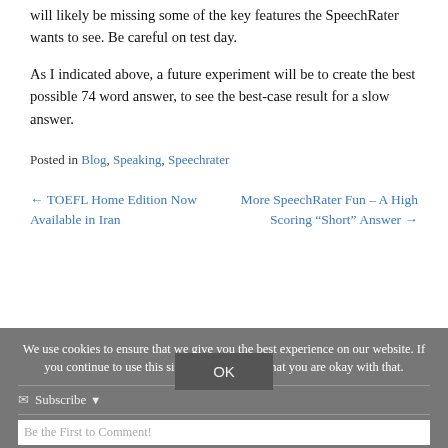will likely be missing some of the key features the SpeechRater wants to see.  Be careful on test day.
As I indicated above, a future experiment will be to create the best possible 74 word answer, to see the best-case result for a slow answer.
Posted in Blog, Speaking, Speechrater
← TOEFL Home Edition Now Available in Iran
More SpeechRater Fun – A High Scoring “Short” Answer →
We use cookies to ensure that we give you the best experience on our website. If you continue to use this site we will assume that you are okay with that.
OK
Subscribe
Be the First to Comment!